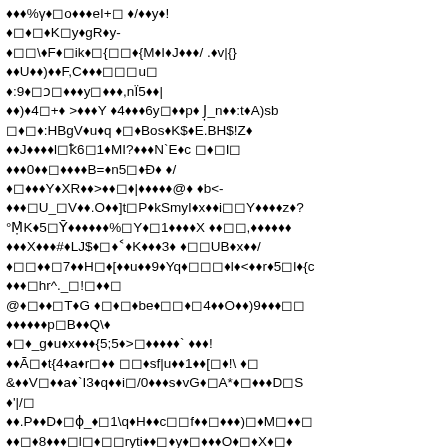♦♦♦%γ♦◻o♦♦♦eI+◻ ♦/♦♦y♦!
♦◻♦◻♦K◻y♦gR♦y-
♦◻◻\♦F♦◻ik♦◻{◻◻♦{M♦I♦J♦♦♦/ .♦v|{}
♦♦U♦♦)♦♦F,C♦♦♦◻◻◻u◻
♦:9♦◻ɔ◻♦♦♦y◻♦♦♦,nÏ5♦♦|
♦♦)♦4◻+♦ >♦♦♦Y ♦4♦♦♦6y◻♦♦p♦ J̣_n♦♦:t♦A)sb
◻♦◻♦:HBgV♦u♦q ♦◻♦Bos♦K$♦E.BH$!Z♦
♦♦J♦♦♦♦l◻ꝁ6◻1♦MI?♦♦♦N`E♦c ◻♦◻I◻
♦♦♦0♦♦◻♦♦♦♦B=♦n5◻♦Đ♦ ♦/
♦◻♦♦♦Y♦XR♦♦>♦♦◻♦|♦♦♦♦♦@♦ ♦b<-
♦♦♦◻U_◻V♦♦.O♦♦]t◻P♦kSmyI♦x♦♦i◻◻Y♦♦♦♦z♦?
°ṀK♦5◻Ȳ♦♦♦♦♦♦%◻Y♦◻1♦♦♦♦X ♦♦◻◻,♦♦♦♦♦♦
♦♦♦X♦♦♦#♦LJ$♦◻♦˂♦K♦♦♦3♦ ♦◻◻UB♦x♦♦/
♦◻◻♦♦◻7♦♦H◻♦[♦♦u♦♦9♦Yq♦◻◻◻♦l♦<♦♦r♦5◻l♦{c
♦♦♦◻hr^._◻!◻♦♦◻
@♦◻♦♦◻T♦G ♦◻♦◻♦be♦◻◻♦◻4♦♦O♦♦)9♦♦♦◻◻
♦♦♦♦♦♦p◻B♦♦Q\♦
♦◻♦_g♦u♦x♦♦♦{5;5♦>◻♦♦♦♦♦` ♦♦♦!
♦♦Ã◻♦t{4♦a♦r◻♦♦ ◻◻♦sf|u♦♦1♦♦[◻♦!\ ♦◻
&♦♦V◻♦♦a♦`I3♦q♦♦i◻/0♦♦♦s♦vG♦◻A*♦◻♦♦♦D◻S
♦'|/◻
♦♦.P♦♦D♦◻ɸ_♦◻1\q♦H♦♦c◻◻f♦♦◻♦♦♦)◻♦M◻♦♦◻
♦♦◻♦8♦♦♦◻l◻♦◻◻ryti♦♦◻♦y♦◻♦♦♦O♦◻♦X♦◻♦
♦♦?C♦♦O♦]f◻♦